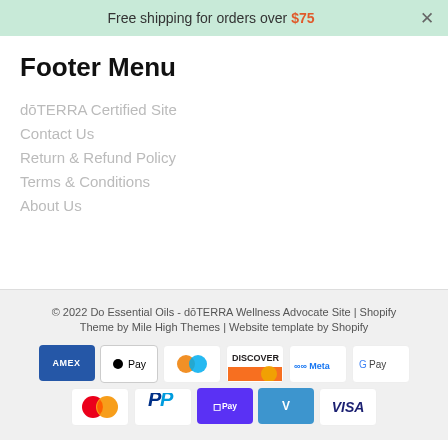Free shipping for orders over $75
Footer Menu
dōTERRA Certified Site
Contact Us
Return & Refund Policy
Terms & Conditions
About Us
© 2022 Do Essential Oils - dōTERRA Wellness Advocate Site | Shopify
Theme by Mile High Themes | Website template by Shopify
[Figure (other): Payment method icons: American Express, Apple Pay, Diners Club, Discover, Meta Pay, Google Pay, Mastercard, PayPal, Shop Pay, Venmo, Visa]